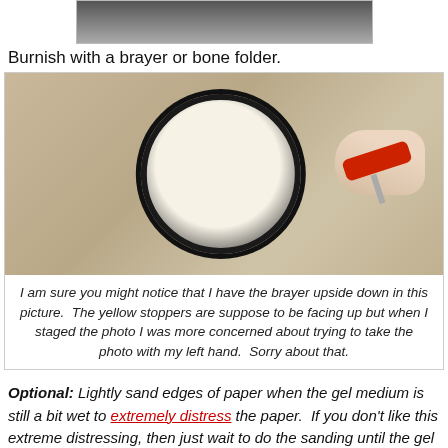[Figure (photo): Partial top of previous photo showing a dark circular disc on a brown table surface]
Burnish with a brayer or bone folder.
[Figure (photo): Hand using a red brayer (held upside down) to burnish paper onto a circular black disc on a wooden table]
I am sure you might notice that I have the brayer upside down in this picture.  The yellow stoppers are suppose to be facing up but when I staged the photo I was more concerned about trying to take the photo with my left hand.  Sorry about that.
Optional: Lightly sand edges of paper when the gel medium is still a bit wet to extremely distress the paper.  If you don't like this extreme distressing, then just wait to do the sanding until the gel medium is dry.